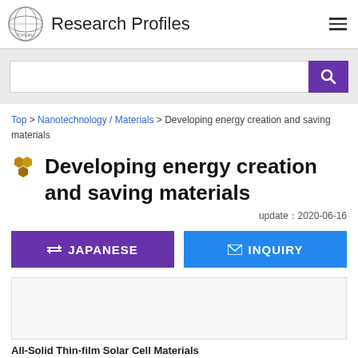Research Profiles
[Figure (screenshot): Search bar with purple search button]
Top > Nanotechnology / Materials > Developing energy creation and saving materials
Developing energy creation and saving materials
update：2020-06-16
⇄ JAPANESE
✉ INQUIRY
[Figure (screenshot): Article card area - beginning of article content, partially visible]